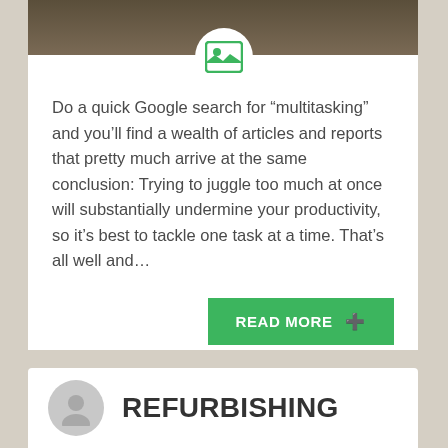[Figure (photo): Cropped photo strip at top of article card, showing partial view of a person, dark background]
[Figure (illustration): Green image/photo placeholder icon inside a white circle badge overlapping the photo strip]
Do a quick Google search for “multitasking” and you’ll find a wealth of articles and reports that pretty much arrive at the same conclusion: Trying to juggle too much at once will substantially undermine your productivity, so it’s best to tackle one task at a time. That’s all well and…
READ MORE ⊕
[Figure (illustration): Gray circular avatar/person silhouette icon]
REFURBISHING